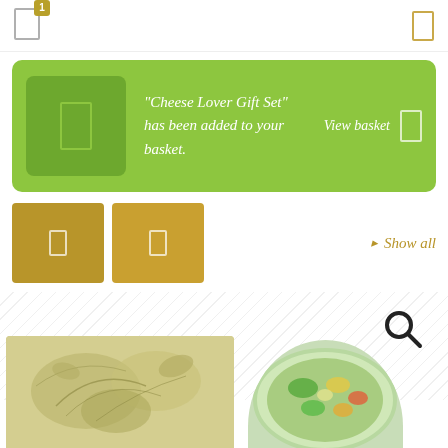[Figure (screenshot): Top navigation bar with cart icon (badge showing '1') on left and menu icon on right]
"Cheese Lover Gift Set" has been added to your basket.
View basket
[Figure (screenshot): Filter/navigation buttons row with two gold square buttons and 'Show all' link on right]
Show all
[Figure (screenshot): Search icon (magnifying glass)]
[Figure (photo): Botanical/tropical leaf pattern product image on left]
[Figure (photo): Circular vegetable bowl/salad product image on right]